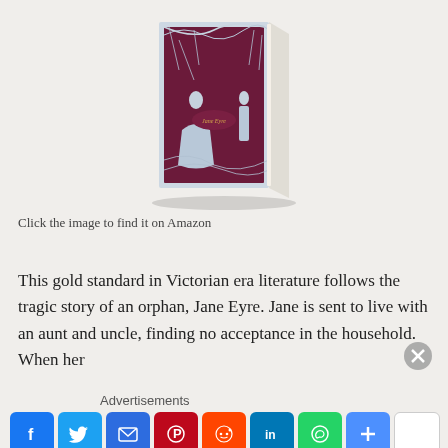[Figure (photo): 3D book cover image of 'Jane Eyre' with intricate paper-cut style illustration showing two figures and trees on a blue/silver cover]
Click the image to find it on Amazon
This gold standard in Victorian era literature follows the tragic story of an orphan, Jane Eyre. Jane is sent to live with an aunt and uncle, finding no acceptance in the household. When her
Advertisements
[Figure (other): Social media share buttons: Facebook, Twitter, Email, Pinterest, Reddit, LinkedIn, WhatsApp, Add, and a blank white button]